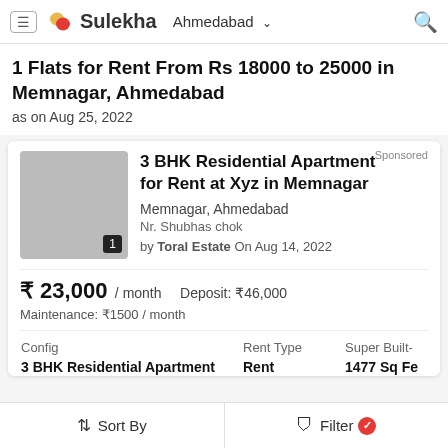Sulekha — Ahmedabad
1 Flats for Rent From Rs 18000 to 25000 in Memnagar, Ahmedabad
as on Aug 25, 2022
Sponsored
3 BHK Residential Apartment for Rent at Xyz in Memnagar
Memnagar, Ahmedabad
Nr. Shubhas chok
by Toral Estate On Aug 14, 2022
₹ 23,000 / month   Deposit: ₹46,000
Maintenance: ₹1500 / month
| Config | Rent Type | Super Built- |
| --- | --- | --- |
| 3 BHK Residential Apartment | Rent | 1477 Sq Fe |
Sort By   Filter